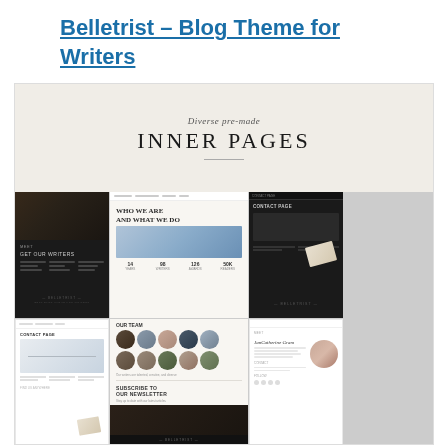Belletrist – Blog Theme for Writers
[Figure (screenshot): Screenshot of Belletrist blog theme showing 'Diverse pre-made INNER PAGES' banner with a grid of 5 inner page layouts including dark blog listing page, about page with team members, contact page, newsletter signup, and author profile page.]